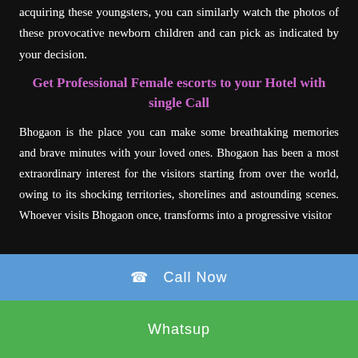acquiring these youngsters, you can similarly watch the photos of these provocative newborn children and can pick as indicated by your decision.
Get Professional Female escorts to your Hotel with single Call
Bhogaon is the place you can make some breathtaking memories and brave minutes with your loved ones. Bhogaon has been a most extraordinary interest for the visitors starting from over the world, owing to its shocking territories, shorelines and astounding scenes. Whoever visits Bhogaon once, transforms into a progressive visitor
☎  Call Now
Whatsup